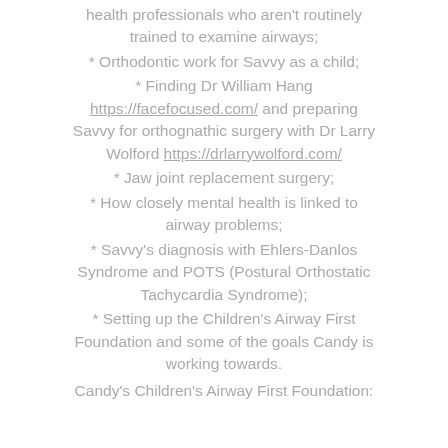health professionals who aren't routinely trained to examine airways;
* Orthodontic work for Savvy as a child;
* Finding Dr William Hang https://facefocused.com/ and preparing Savvy for orthognathic surgery with Dr Larry Wolford https://drlarrywolford.com/
* Jaw joint replacement surgery;
* How closely mental health is linked to airway problems;
* Savvy's diagnosis with Ehlers-Danlos Syndrome and POTS (Postural Orthostatic Tachycardia Syndrome);
* Setting up the Children's Airway First Foundation and some of the goals Candy is working towards.
Candy's Children's Airway First Foundation: